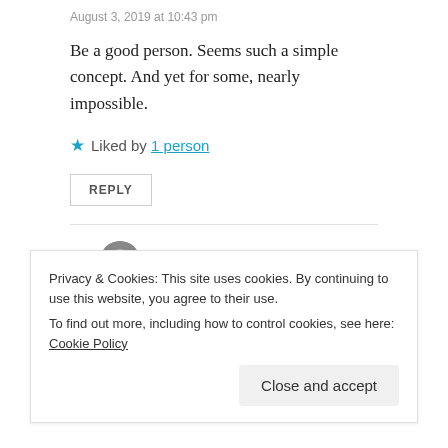August 3, 2019 at 10:43 pm
Be a good person. Seems such a simple concept. And yet for some, nearly impossible.
★ Liked by 1 person
REPLY
Watt
August 4, 2019 at 5:31 am
Not for you, though. 🤠
Privacy & Cookies: This site uses cookies. By continuing to use this website, you agree to their use. To find out more, including how to control cookies, see here: Cookie Policy
Close and accept